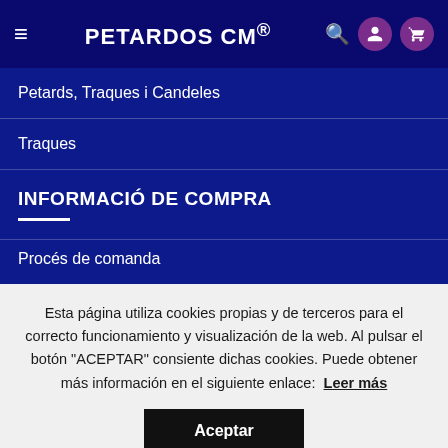PETARDOS CM®
Petards, Traques i Candeles
Traques
INFORMACIÓ DE COMPRA
Procés de comanda
Esta página utiliza cookies propias y de terceros para el correcto funcionamiento y visualización de la web. Al pulsar el botón "ACEPTAR" consiente dichas cookies. Puede obtener más información en el siguiente enlace:  Leer más
Aceptar